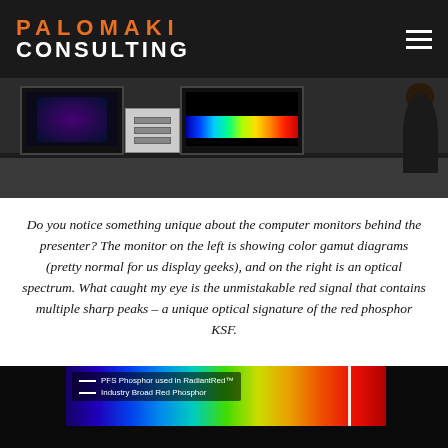PALOMAKI CONSULTING
[Figure (photo): Photo of a presenter in front of multiple computer monitors displaying color gamut diagrams and an optical spectrum]
Do you notice something unique about the computer monitors behind the presenter? The monitor on the left is showing color gamut diagrams (pretty normal for us display geeks), and on the right is an optical spectrum. What caught my eye is the unmistakable red signal that contains multiple sharp peaks – a unique optical signature of the red phosphor KSF.
[Figure (photo): Optical spectrum display showing a rainbow spectrum gradient with a legend: '— PFS Phosphor used in RadiantRed™' and '— Industry Broad Red Phosphor']